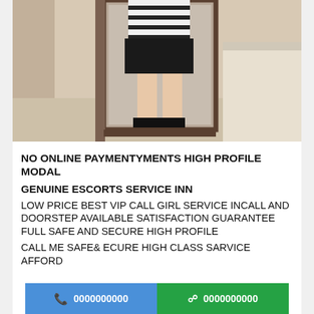[Figure (photo): Person taking a mirror selfie in a bathroom, wearing a striped top and black shorts with black shoes. Mirror frame visible, bathtub in background.]
NO ONLINE PAYMENTYMENTS HIGH PROFILE MODAL
GENUINE ESCORTS SERVICE INN
LOW PRICE BEST VIP CALL GIRL SERVICE INCALL AND DOORSTEP AVAILABLE SATISFACTION GUARANTEE FULL SAFE AND SECURE HIGH PROFILE
CALL ME SAFE& ECURE HIGH CLASS SARVICE AFFORD
0000000000 (call button) | 0000000000 (whatsapp button)